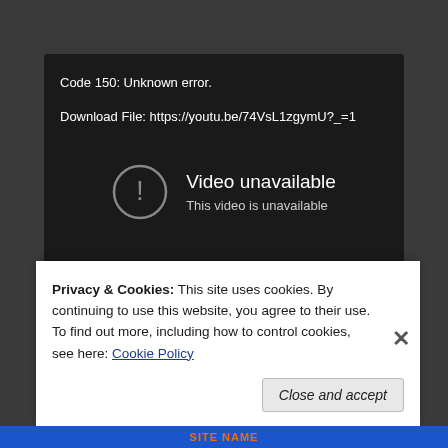[Figure (screenshot): YouTube embedded video player showing an error state. Dark background with white text: 'Code 150: Unknown error.' and 'Download File: https://youtu.be/74VsL1zgymU?_=1'. Center shows an exclamation circle icon with 'Video unavailable' and 'This video is unavailable'. YouTube logo button in bottom right corner.]
Privacy & Cookies: This site uses cookies. By continuing to use this website, you agree to their use.
To find out more, including how to control cookies, see here: Cookie Policy
Close and accept